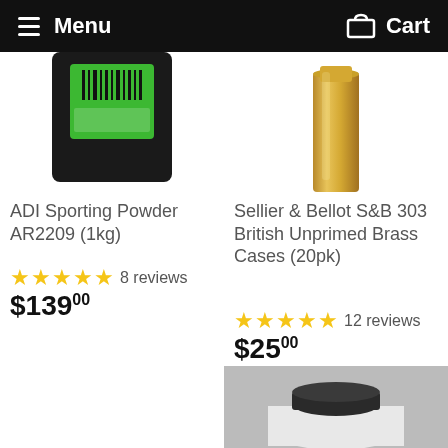Menu   Cart
[Figure (photo): Partial top of ADI Sporting Powder AR2209 1kg product package with green label and barcode]
ADI Sporting Powder AR2209 (1kg)
★★★★★ 8 reviews
$139.00
[Figure (photo): Partial top of a brass cartridge case]
Sellier & Bellot S&B 303 British Unprimed Brass Cases (20pk)
★★★★★ 12 reviews
$25.00
[Figure (photo): Top of a white container with a dark cap, partially visible at bottom right of page]